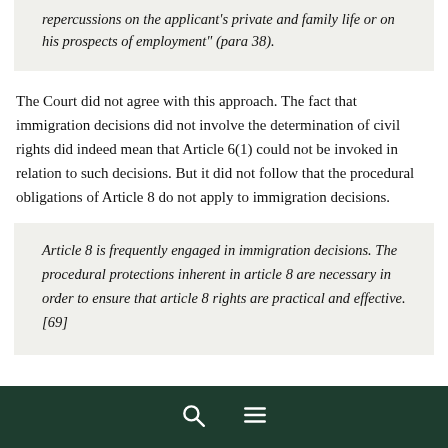repercussions on the applicant's private and family life or on his prospects of employment" (para 38).
The Court did not agree with this approach. The fact that immigration decisions did not involve the determination of civil rights did indeed mean that Article 6(1) could not be invoked in relation to such decisions. But it did not follow that the procedural obligations of Article 8 do not apply to immigration decisions.
Article 8 is frequently engaged in immigration decisions. The procedural protections inherent in article 8 are necessary in order to ensure that article 8 rights are practical and effective. [69]
🔍 ☰